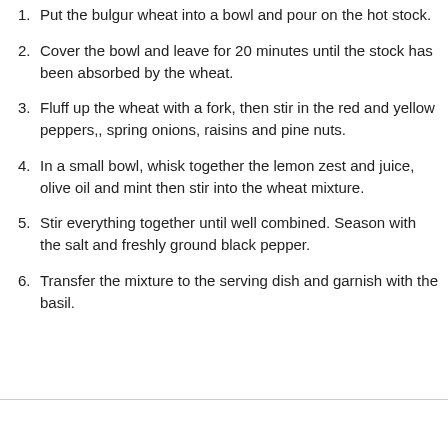1. Put the bulgur wheat into a bowl and pour on the hot stock.
2. Cover the bowl and leave for 20 minutes until the stock has been absorbed by the wheat.
3. Fluff up the wheat with a fork, then stir in the red and yellow peppers,, spring onions, raisins and pine nuts.
4. In a small bowl, whisk together the lemon zest and juice, olive oil and mint then stir into the wheat mixture.
5. Stir everything together until well combined. Season with the salt and freshly ground black pepper.
6. Transfer the mixture to the serving dish and garnish with the basil.